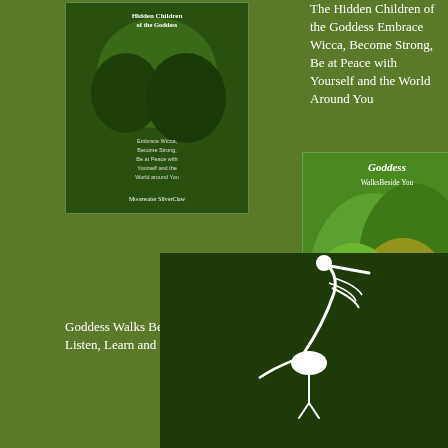[Figure (photo): Book cover: Hidden Children of the Goddess, green forest background with woman figure, by Moonwater SilverClaw]
The Hidden Children of the Goddess Embrace Wicca, Become Strong, Be at Peace with Yourself and the World Around You
[Figure (photo): Book cover: Goddess WalksBeside You, green and yellow leaf background with goddess figure symbol, by Moonwater SilverClaw]
Goddess Walks Beside You: How You Can Listen, Learn and Enjoy the Wiccan Path
[Figure (photo): Book cover: Goddess Style Weight Loss, Wiccans — Happy, Healthy and Confident, green leaf background, by Moonwater SilverClaw]
Goddess Style Weight Loss: Wiccans – Happy, Healthy and Confident
[Figure (logo): White stylized heron/bird logo on dark green background, publisher logo]